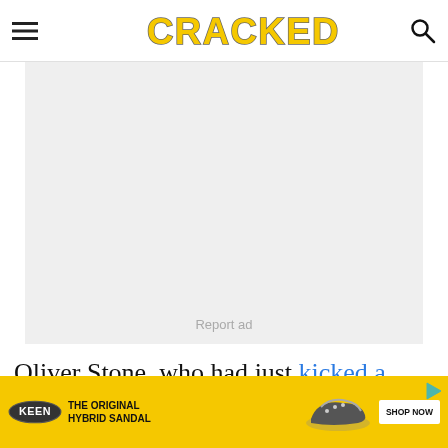CRACKED
[Figure (other): Gray advertisement placeholder box with 'Report ad' text in center-bottom]
Oliver Stone, who had just kicked a wicked coke habit, was hired to rewrite the screenplay and boom! A
[Figure (other): KEEN shoes advertisement banner: 'THE ORIGINAL HYBRID SANDAL' with shoe image and SHOP NOW button]